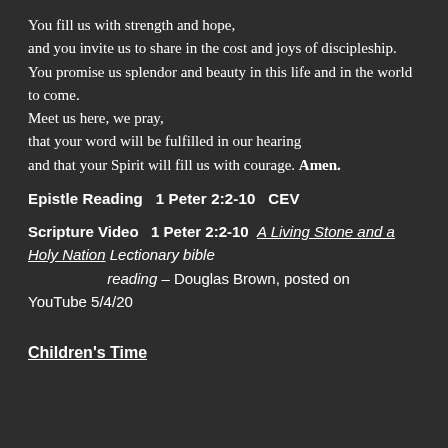You fill us with strength and hope,
and you invite us to share in the cost and joys of discipleship.
You promise us splendor and beauty in this life and in the world to come.
Meet us here, we pray,
that your word will be fulfilled in our hearing
and that your Spirit will fill us with courage. Amen.
Epistle Reading    1 Peter 2:2-10    CEV
Scripture Video    1 Peter 2:2-10   A Living Stone and a Holy Nation Lectionary bible reading – Douglas Brown, posted on YouTube 5/4/20
Children's Time